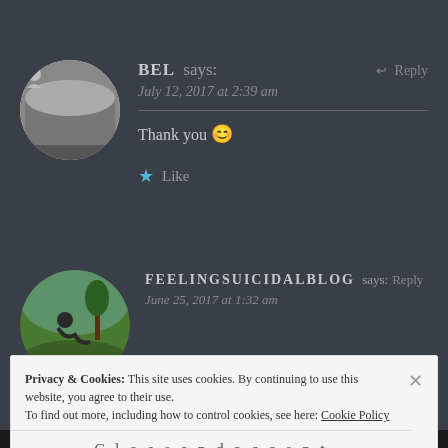BEL says:
July 12, 2017 at 2:39 am
Thank you 😊
Like
FEELINGSUICIDALBLOG says: Reply
June 25, 2017 at 1:32 am
Privacy & Cookies: This site uses cookies. By continuing to use this website, you agree to their use. To find out more, including how to control cookies, see here: Cookie Policy
Close and accept